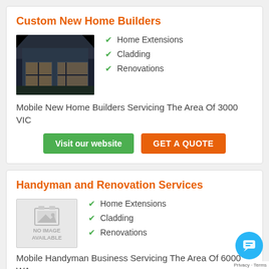Custom New Home Builders
[Figure (photo): Photo of a modern home with large glass sliding doors and interior lighting visible at dusk]
Home Extensions
Cladding
Renovations
Mobile New Home Builders Servicing The Area Of 3000 VIC
Visit our website | GET A QUOTE
Handyman and Renovation Services
[Figure (photo): No image available placeholder with image icon]
Home Extensions
Cladding
Renovations
Mobile Handyman Business Servicing The Area Of 6000 WA